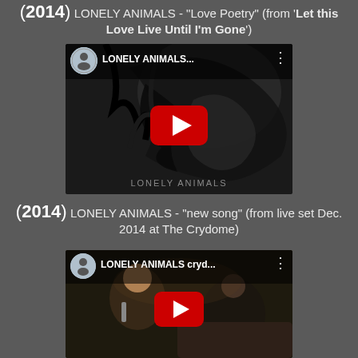(2014) LONELY ANIMALS - "Love Poetry" (from 'Let this Love Live Until I'm Gone')
[Figure (screenshot): YouTube video thumbnail for LONELY ANIMALS 'Love Poetry' showing black and white album art with a red YouTube play button, channel icon, and video title overlay.]
(2014) LONELY ANIMALS - "new song" (from live set Dec. 2014 at The Crydome)
[Figure (screenshot): YouTube video thumbnail for LONELY ANIMALS cryd... showing a live performance video with a red YouTube play button, channel icon, and video title overlay.]